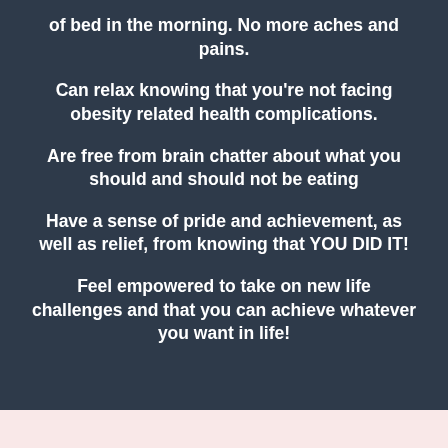of bed in the morning. No more aches and pains.
Can relax knowing that you're not facing obesity related health complications.
Are free from brain chatter about what you should and should not be eating
Have a sense of pride and achievement, as well as relief, from knowing that YOU DID IT!
Feel empowered to take on new life challenges and that you can achieve whatever you want in life!